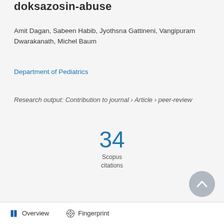doksazosin-abuse
Amit Dagan, Sabeen Habib, Jyothsna Gattineni, Vangipuram Dwarakanath, Michel Baum
Department of Pediatrics
Research output: Contribution to journal › Article › peer-review
34
Scopus
citations
Overview   Fingerprint